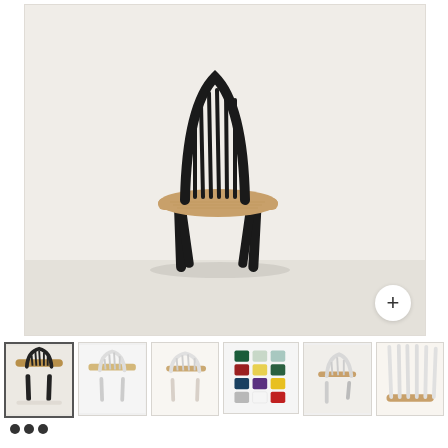[Figure (photo): Main product photo of a Windsor-style dining chair with black metal spindle back and legs, natural wood seat, on light beige/grey floor against off-white wall. A white circle button with a plus (+) sign is in the bottom-right corner of the image.]
[Figure (photo): Thumbnail row showing 6 small product images: (1) same black chair front view, (2) white version of chair, (3) transparent/clear chair, (4) color swatch grid showing available colors, (5) white chair side view, (6) close-up of chair back spindles.]
• • •